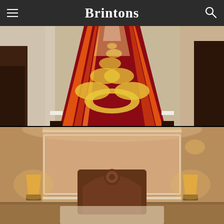Brintons
[Figure (photo): Hotel corridor with ornate patterned carpet featuring yellow floral motifs on a dark red background with orange and red striped borders, flanked by marble walls and dark wood doors, perspective view down the hallway]
[Figure (photo): Hotel bedroom with warm ambient lighting, featuring an ornate wooden headboard with circular detail, cream/beige walls with recessed panel, yellow bedside lamp, and carpeted floor]